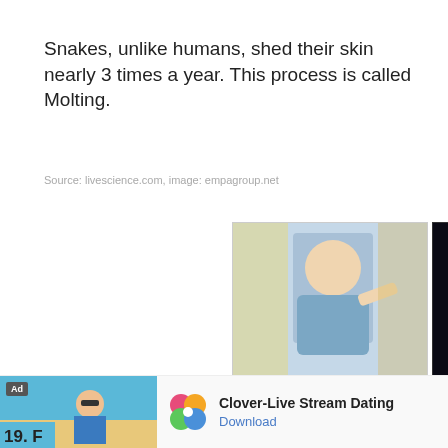Snakes, unlike humans, shed their skin nearly 3 times a year. This process is called Molting.
Source: livescience.com, image: empagroup.net
[Figure (screenshot): Two advertisement tiles: left shows a teacher (accel schools, Teacher, Special Education Jobs i..., jobble.com); right shows SI Tickets ad (We Found the Cheapest Tickets, SI Tickets, Shop Now button)]
[Figure (screenshot): Bottom advertisement bar: Ad badge, beach scene with woman, number 19, Clover-Live Stream Dating app ad with colorful clover icon and Download link]